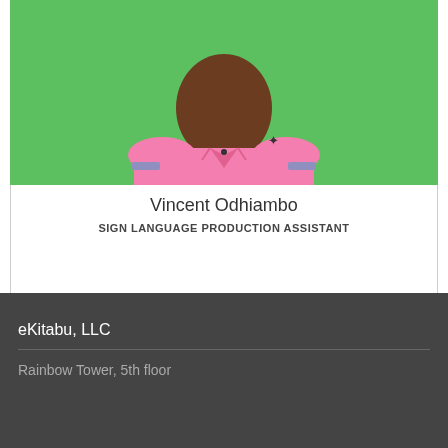[Figure (photo): Photo of Vincent Odhiambo, a man wearing a pink polo shirt against a green background]
Vincent Odhiambo
SIGN LANGUAGE PRODUCTION ASSISTANT
eKitabu, LLC
Rainbow Tower, 5th floor